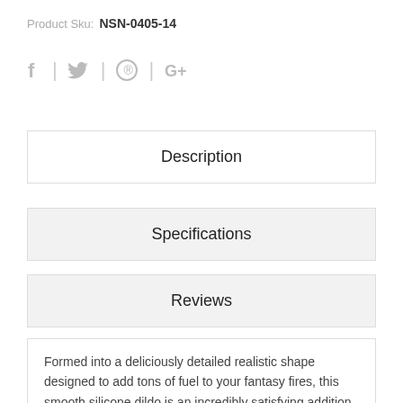Product Sku: NSN-0405-14
[Figure (other): Social media icons: Facebook (f), Twitter (bird), Pinterest (P circle), Google+ (G+)]
Description
Specifications
Reviews
Formed into a deliciously detailed realistic shape designed to add tons of fuel to your fantasy fires, this smooth silicone dildo is an incredibly satisfying addition to ns novelties